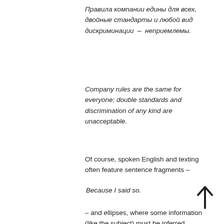Правила компании едины для всех, двойные стандарты и любой вид дискриминации – неприемлемы.
Company rules are the same for everyone; double standards and discrimination of any kind are unacceptable.
Of course, spoken English and texting often feature sentence fragments –
Because I said so.
[Figure (illustration): Upward pointing arrow symbol]
– and ellipses, where some information (like the subject) must be inferred.